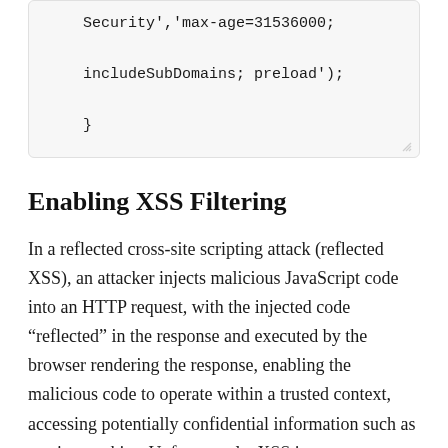Security','max-age=31536000;
    includeSubDomains; preload');
}
Enabling XSS Filtering
In a reflected cross-site scripting attack (reflected XSS), an attacker injects malicious JavaScript code into an HTTP request, with the injected code “reflected” in the response and executed by the browser rendering the response, enabling the malicious code to operate within a trusted context, accessing potentially confidential information such as session cookies. Unfortunately, XSS is a pretty